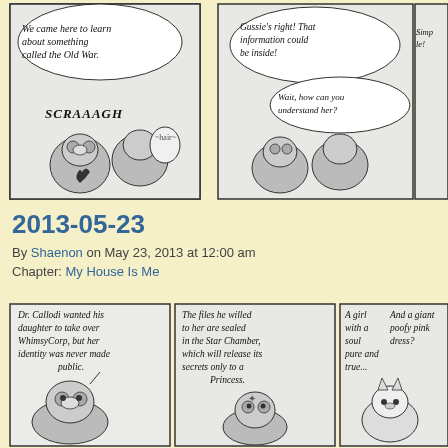[Figure (illustration): Top portion of a black and white webcomic strip showing four panels with cartoon bear-like characters and speech bubbles. Panel 1: 'We came here to learn about something called the Old War. SCRAAAGH'. Panel 2: 'Gussie's right! That information could be inside! Wait, how can you understand her?'. Panel 3: 'Simple! Our hearts are linked! Through the power of love?'. Panel 4: 'And a peer-to-...bu...' (cut off)]
2013-05-23
By Shaenon on May 23, 2013 at 12:00 am
Chapter: My House Is Me
[Figure (illustration): Bottom portion of a black and white webcomic strip showing four panels with cartoon characters. Panel 1: 'Dr. Callodi wanted his daughter to take over WhimsyCorp, but her identity was never made public.' Panel 2: 'The files he willed to her are sealed in the Star Chamber, which will release its secrets only to a Princess.' Panel 3: 'A girl with a soul pure and true... And a giant poofy pink dress?' Panel 4: 'Well, obviously. We're talking royalty.' (cut off)]